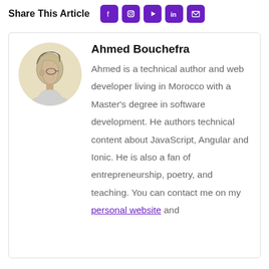Share This Article
[Figure (illustration): Author avatar: pencil-sketch portrait of Ahmed Bouchefra, circular crop]
Ahmed Bouchefra
Ahmed is a technical author and web developer living in Morocco with a Master's degree in software development. He authors technical content about JavaScript, Angular and Ionic. He is also a fan of entrepreneurship, poetry, and teaching. You can contact me on my personal website and